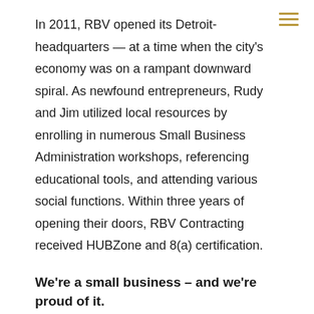In 2011, RBV opened its Detroit-headquarters — at a time when the city's economy was on a rampant downward spiral. As newfound entrepreneurs, Rudy and Jim utilized local resources by enrolling in numerous Small Business Administration workshops, referencing educational tools, and attending various social functions. Within three years of opening their doors, RBV Contracting received HUBZone and 8(a) certification.
We're a small business – and we're proud of it.
RBV is small but mighty, and growing! In the past six years, our team has grown by 78-percent, and we don't plan on slowing down anytime soon. In fact